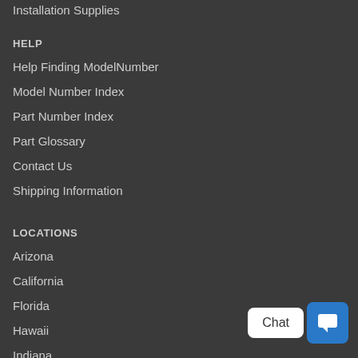Installation Supplies
HELP
Help Finding ModelNumber
Model Number Index
Part Number Index
Part Glossary
Contact Us
Shipping Information
LOCATIONS
Arizona
California
Florida
Hawaii
Indiana
Louisiana